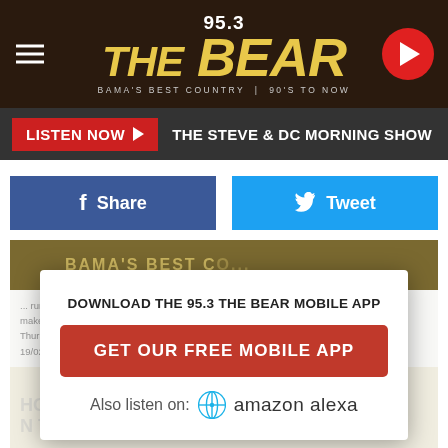[Figure (screenshot): 95.3 The Bear radio station website header with logo, hamburger menu, and play button]
95.3 THE BEAR — BAMA'S BEST COUNTRY | 90'S TO NOW
LISTEN NOW ▶  THE STEVE & DC MORNING SHOW
[Figure (screenshot): Facebook Share and Twitter Tweet social share buttons]
[Figure (screenshot): Modal popup: DOWNLOAD THE 95.3 THE BEAR MOBILE APP with GET OUR FREE MOBILE APP button and Also listen on: amazon alexa]
Alabama football fans add a few extra lyrics to 'Dixieland